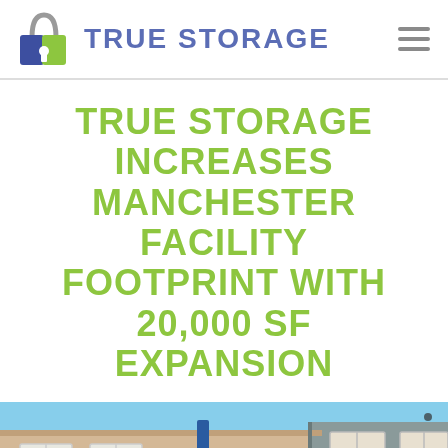[Figure (logo): True Storage logo with padlock icon and blue/green text reading TRUE STORAGE, plus hamburger menu icon on the right]
TRUE STORAGE INCREASES MANCHESTER FACILITY FOOTPRINT WITH 20,000 SF EXPANSION
[Figure (photo): Exterior photo of a storage facility building with blue signage reading LifeStorage, light beige/tan building with white-framed windows, blue sky background]